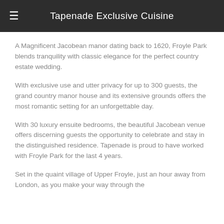Tapenade Exclusive Cuisine
A Magnificent Jacobean manor dating back to 1620, Froyle Park blends tranquility with classic elegance for the perfect country estate wedding.
With exclusive use and utter privacy for up to 300 guests, the grand country manor house and its extensive grounds offers the most romantic setting for an unforgettable day.
With 30 luxury ensuite bedrooms, the beautiful Jacobean venue offers discerning guests the opportunity to celebrate and stay in the distinguished residence. Tapenade is proud to have worked with Froyle Park for the last 4 years.
Set in the quaint village of Upper Froyle, just an hour away from London, as you make your way through the